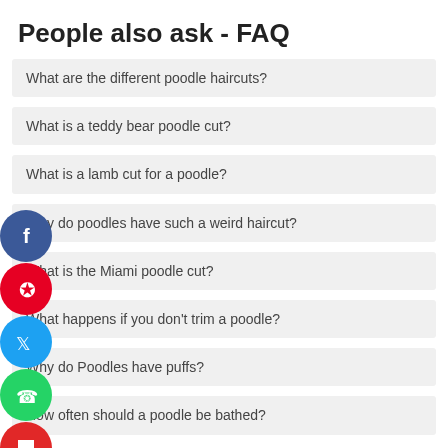People also ask - FAQ
What are the different poodle haircuts?
What is a teddy bear poodle cut?
What is a lamb cut for a poodle?
Why do poodles have such a weird haircut?
What is the Miami poodle cut?
What happens if you don't trim a poodle?
Why do Poodles have puffs?
How often should a poodle be bathed?